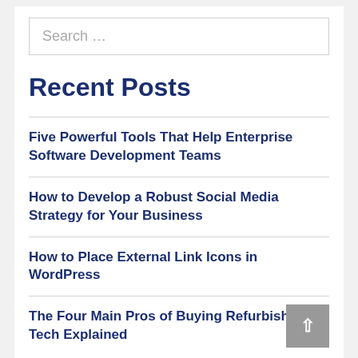Search …
Recent Posts
Five Powerful Tools That Help Enterprise Software Development Teams
How to Develop a Robust Social Media Strategy for Your Business
How to Place External Link Icons in WordPress
The Four Main Pros of Buying Refurbished Tech Explained